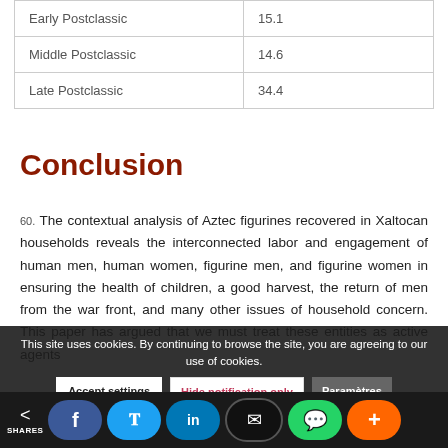| Early Postclassic | 15.1 |
| Middle Postclassic | 14.6 |
| Late Postclassic | 34.4 |
Conclusion
60. The contextual analysis of Aztec figurines recovered in Xaltocan households reveals the interconnected labor and engagement of human men, human women, figurine men, and figurine women in ensuring the health of children, a good harvest, the return of men from the war front, and many other issues of household concern. This paper has argued that we must treat these entities as active agents